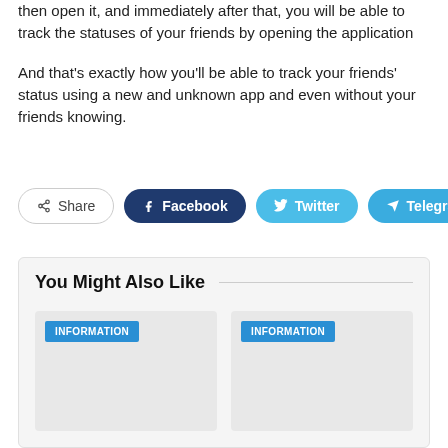then open it, and immediately after that, you will be able to track the statuses of your friends by opening the application
And that's exactly how you'll be able to track your friends' status using a new and unknown app and even without your friends knowing.
[Figure (infographic): Social share buttons row: Share, Facebook, Twitter, Telegram]
You Might Also Like
[Figure (infographic): Two article cards labeled INFORMATION on a light grey background]